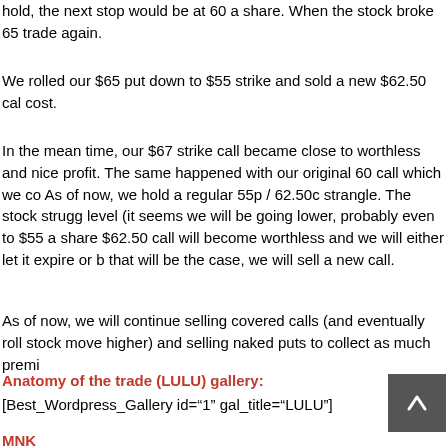hold, the next stop would be at 60 a share. When the stock broke 65 [cut off] trade again.
We rolled our $65 put down to $55 strike and sold a new $62.50 cal[l at no] cost.
In the mean time, our $67 strike call became close to worthless and [we took a] nice profit. The same happened with our original 60 call which we co[vered for a] As of now, we hold a regular 55p / 62.50c strangle. The stock strugg[les at this] level (it seems we will be going lower, probably even to $55 a share[). The] $62.50 call will become worthless and we will either let it expire or b[uy it back.] that will be the case, we will sell a new call.
As of now, we will continue selling covered calls (and eventually roll[ing if the] stock move higher) and selling naked puts to collect as much premi[um as possible].
Anatomy of the trade (LULU) gallery:
[Best_Wordpress_Gallery id="1" gal_title="LULU"]
MNK